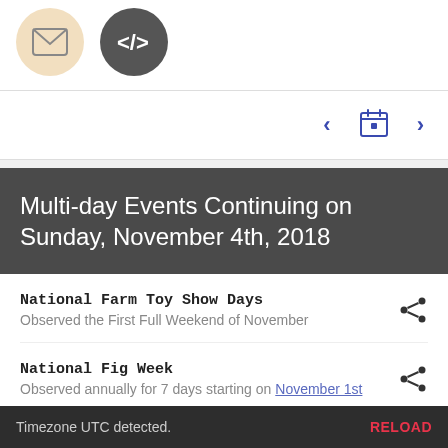[Figure (screenshot): Two circular icon buttons: a beige circle with envelope/mail icon and a dark grey circle with code brackets icon (</>)]
[Figure (screenshot): Calendar navigation bar with left arrow, calendar icon, and right arrow, all in blue]
Multi-day Events Continuing on Sunday, November 4th, 2018
National Farm Toy Show Days
Observed the First Full Weekend of November
National Fig Week
Observed annually for 7 days starting on November 1st
National Patient Accessibility Week
Observed annually for 7 days starting on November 1st
Timezone UTC detected. RELOAD